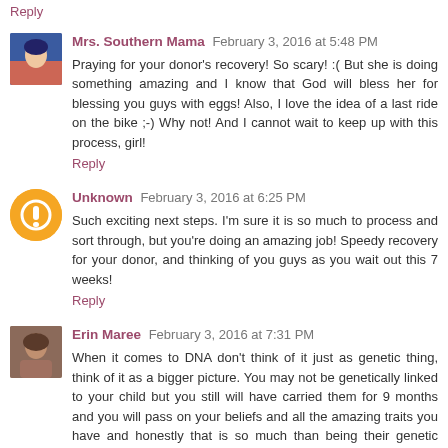Reply
Mrs. Southern Mama  February 3, 2016 at 5:48 PM
Praying for your donor's recovery! So scary! :( But she is doing something amazing and I know that God will bless her for blessing you guys with eggs! Also, I love the idea of a last ride on the bike ;-) Why not! And I cannot wait to keep up with this process, girl!
Reply
Unknown  February 3, 2016 at 6:25 PM
Such exciting next steps. I'm sure it is so much to process and sort through, but you're doing an amazing job! Speedy recovery for your donor, and thinking of you guys as you wait out this 7 weeks!
Reply
Erin Maree  February 3, 2016 at 7:31 PM
When it comes to DNA don't think of it just as genetic thing, think of it as a bigger picture. You may not be genetically linked to your child but you still will have carried them for 9 months and you will pass on your beliefs and all the amazing traits you have and honestly that is so much than being their genetic parent! You will be the one who gets to shape them as a person and lead them